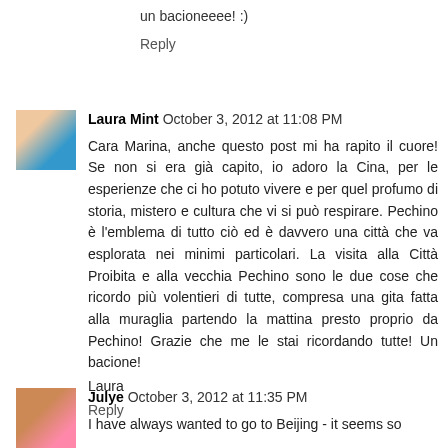un bacioneeee! :)
Reply
Laura Mint  October 3, 2012 at 11:08 PM
Cara Marina, anche questo post mi ha rapito il cuore! Se non si era già capito, io adoro la Cina, per le esperienze che ci ho potuto vivere e per quel profumo di storia, mistero e cultura che vi si può respirare. Pechino è l'emblema di tutto ciò ed è davvero una città che va esplorata nei minimi particolari. La visita alla Città Proibita e alla vecchia Pechino sono le due cose che ricordo più volentieri di tutte, compresa una gita fatta alla muraglia partendo la mattina presto proprio da Pechino! Grazie che me le stai ricordando tutte! Un bacione!
Laura
Reply
Julye  October 3, 2012 at 11:35 PM
I have always wanted to go to Beijing - it seems so